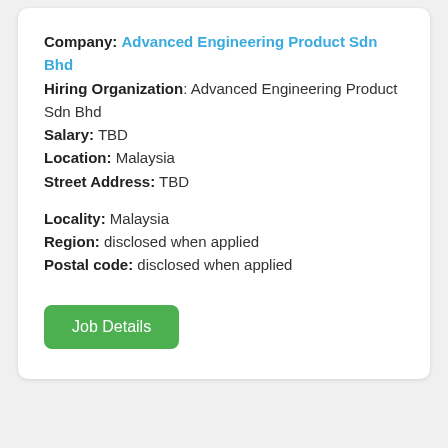Company: Advanced Engineering Product Sdn Bhd
Hiring Organization: Advanced Engineering Product Sdn Bhd
Salary: TBD
Location: Malaysia
Street Address: TBD
Locality: Malaysia
Region: disclosed when applied
Postal code: disclosed when applied
Job Details